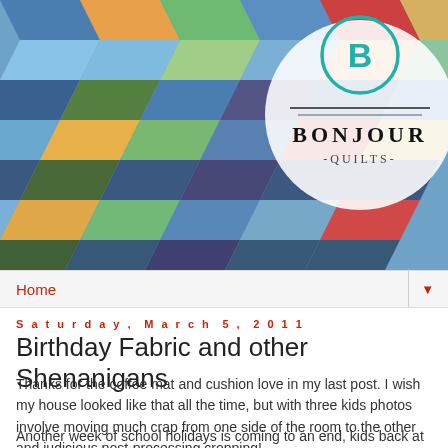[Figure (photo): Header photo of colorful geometric quilt blocks in blue, green, orange, and red arranged in a tumbling blocks or pinwheel pattern, with Bonjour Quilts logo overlaid in the top right corner — circular logo with a 'B' in teal, text 'BONJOUR QUILTS' in black serif capitals below it.]
Home ▼
Saturday, March 5, 2011
Birthday Fabric and other Shenanigans
Thanks for the coffee mat and cushion love in my last post. I wish my house looked like that all the time, but with three kids photos involve moving much crap from one side of the room to the other and judicious post-processing cropping!
Another week of school holidays is coming to an end, kids back at school Monday. We have been keeping busy with tea parties.